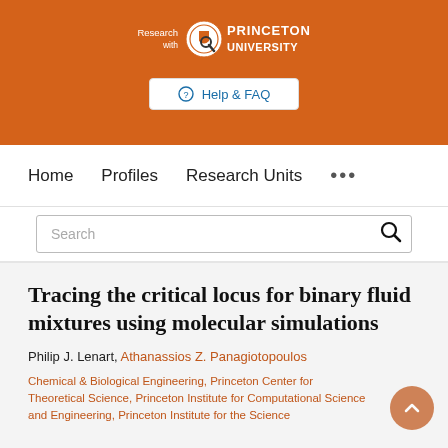[Figure (logo): Princeton University 'Research with Princeton University' logo with magnifying glass and shield emblem on orange background]
Help & FAQ
Home   Profiles   Research Units   ...
Search
Tracing the critical locus for binary fluid mixtures using molecular simulations
Philip J. Lenart, Athanassios Z. Panagiotopoulos
Chemical & Biological Engineering, Princeton Center for Theoretical Science, Princeton Institute for Computational Science and Engineering, Princeton Institute for the Science